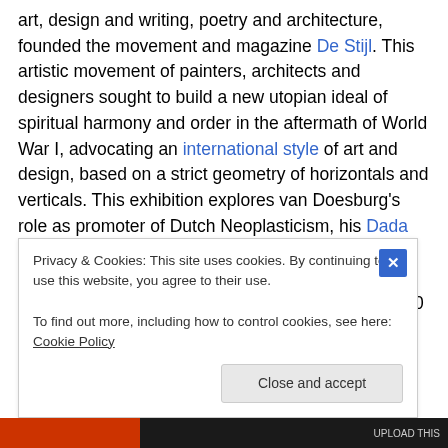art, design and writing, poetry and architecture, founded the movement and magazine De Stijl. This artistic movement of painters, architects and designers sought to build a new utopian ideal of spiritual harmony and order in the aftermath of World War I, advocating an international style of art and design, based on a strict geometry of horizontals and verticals. This exhibition explores van Doesburg's role as promoter of Dutch Neoplasticism, his Dada personality, his efforts to influence the Bauhaus, his links with international Constructivists, and his creation of the group Art Concret. Including over 350 works by key
Privacy & Cookies: This site uses cookies. By continuing to use this website, you agree to their use.
To find out more, including how to control cookies, see here: Cookie Policy